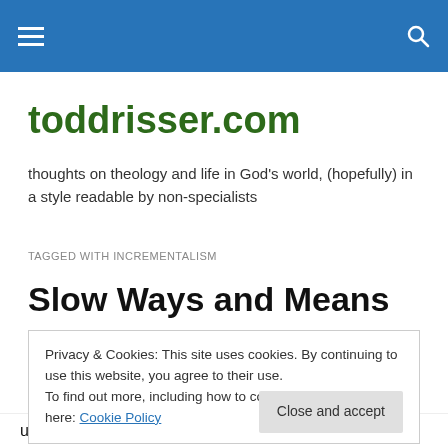toddrisser.com [navigation bar]
toddrisser.com
thoughts on theology and life in God’s world, (hopefully) in a style readable by non-specialists
TAGGED WITH INCREMENTALISM
Slow Ways and Means
Privacy & Cookies: This site uses cookies. By continuing to use this website, you agree to their use.
To find out more, including how to control cookies, see here: Cookie Policy
Close and accept
used – seeds, trees, vineyards – are images of slow.